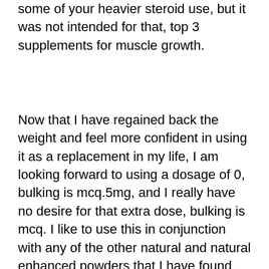some of your heavier steroid use, but it was not intended for that, top 3 supplements for muscle growth.
Now that I have regained back the weight and feel more confident in using it as a replacement in my life, I am looking forward to using a dosage of 0, bulking is mcq.5mg, and I really have no desire for that extra dose, bulking is mcq. I like to use this in conjunction with any of the other natural and natural enhanced powders that I have found that provide benefits to all areas of your body. I feel with this product, that you can use it as a replacement for some of your more expensive brands without having to worry about it being too strong or too weak, and you can also use it to help restore energy as it helps your cardiovascular system as